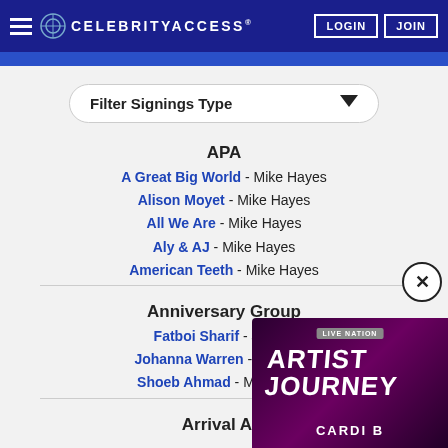CELEBRITYACCESS® | LOGIN | JOIN
Filter Signings Type
APA
A Great Big World - Mike Hayes
Alison Moyet - Mike Hayes
All We Are - Mike Hayes
Aly & AJ - Mike Hayes
American Teeth - Mike Hayes
Anniversary Group
Fatboi Sharif - Jordan
Johanna Warren - Jonathan
Shoeb Ahmad - Michael Lo
Arrival A...
[Figure (screenshot): Live Nation Artist Journey ad featuring Cardi B with purple background]